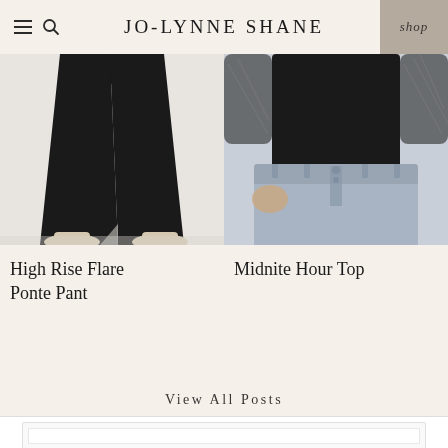JO-LYNNE SHANE
[Figure (photo): Lower half of a model wearing black high rise flare ponte pants with beige/cream heeled shoes, on a light background]
[Figure (photo): Torso of a model wearing a black Midnite Hour top with sheer lace sleeves, paired with light wash denim jeans]
High Rise Flare Ponte Pant
Midnite Hour Top
View All Posts